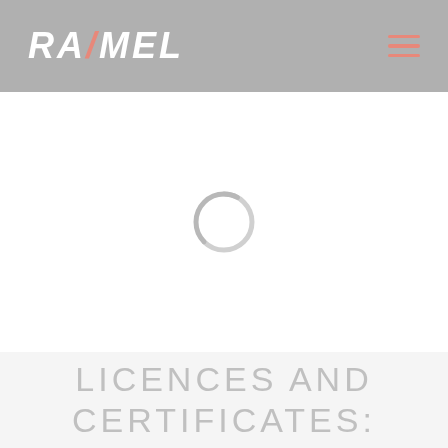RAMEL
[Figure (other): Loading spinner — a circular arc/ring in light gray indicating a loading state]
LICENCES AND CERTIFICATES: